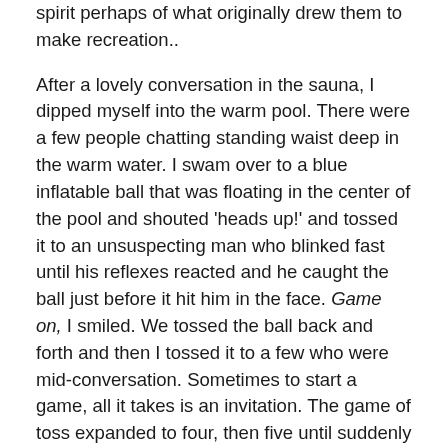spirit perhaps of what originally drew them to make recreation..
After a lovely conversation in the sauna, I dipped myself into the warm pool. There were a few people chatting standing waist deep in the warm water. I swam over to a blue inflatable ball that was floating in the center of the pool and shouted 'heads up!' and tossed it to an unsuspecting man who blinked fast until his reflexes reacted and he caught the ball just before it hit him in the face. Game on, I smiled. We tossed the ball back and forth and then I tossed it to a few who were mid-conversation. Sometimes to start a game, all it takes is an invitation. The game of toss expanded to four, then five until suddenly we had ten people in the pool and a playful game of volley began commenced. This playful game of volleyball however turned increasingly competitive and even a bit